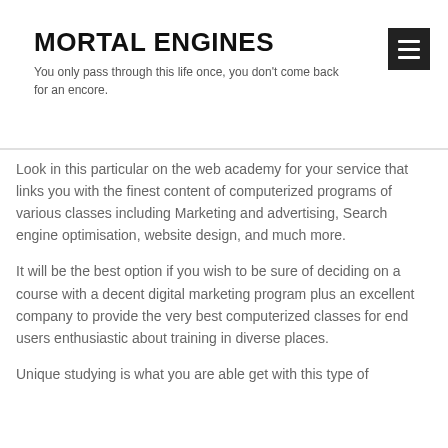MORTAL ENGINES
You only pass through this life once, you don't come back for an encore.
Look in this particular on the web academy for your service that links you with the finest content of computerized programs of various classes including Marketing and advertising, Search engine optimisation, website design, and much more.
It will be the best option if you wish to be sure of deciding on a course with a decent digital marketing program plus an excellent company to provide the very best computerized classes for end users enthusiastic about training in diverse places.
Unique studying is what you are able get with this type of